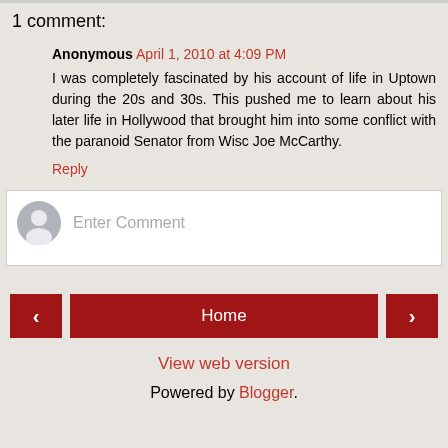1 comment:
Anonymous April 1, 2010 at 4:09 PM
I was completely fascinated by his account of life in Uptown during the 20s and 30s. This pushed me to learn about his later life in Hollywood that brought him into some conflict with the paranoid Senator from Wisc Joe McCarthy.
Reply
[Figure (other): Comment input box with avatar icon and placeholder text 'Enter Comment']
Home
View web version
Powered by Blogger.